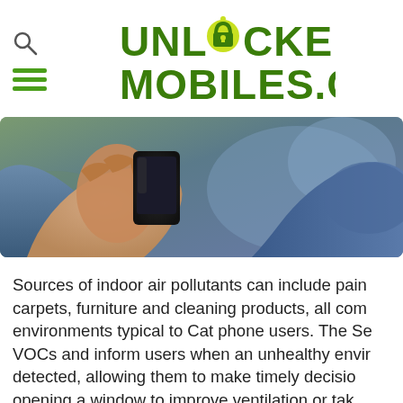[Figure (logo): Unlocked Mobiles .com logo with green padlock icon replacing the O in UNLOCKED]
[Figure (photo): Close-up photo of a hand holding a black smartphone, person wearing a blue jacket, blurred background]
Sources of indoor air pollutants can include paint, carpets, furniture and cleaning products, all common environments typical to Cat phone users. The Se... VOCs and inform users when an unhealthy envi... detected, allowing them to make timely decisio... opening a window to improve ventilation or tak... The sensor can also provide humidity and curren... readings.